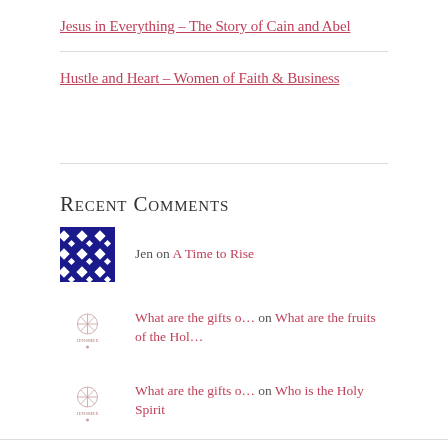Jesus in Everything – The Story of Cain and Abel
Hustle and Heart – Women of Faith & Business
Recent Comments
Jen on A Time to Rise
What are the gifts o… on What are the fruits of the Hol…
What are the gifts o… on Who is the Holy Spirit